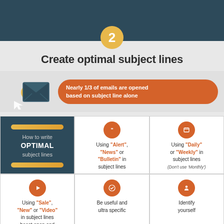2
Create optimal subject lines
Nearly 1/3 of emails are opened based on subject line alone
[Figure (infographic): Dark teal envelope icon with cursor arrow and yellow circle, alongside an orange rounded callout bubble]
[Figure (infographic): Grid of 6 tiles showing tips for writing optimal subject lines including using Alert/News/Bulletin, Daily/Weekly, Sale/New/Video, Be useful and ultra specific, Identify yourself]
How to write OPTIMAL subject lines
Using "Alert", "News" or "Bulletin" in subject lines
Using "Daily" or "Weekly" in subject lines (Don't use 'Monthly')
Using "Sale", "New" or "Video" in subject lines boost open and
Be useful and ultra specific
Identify yourself